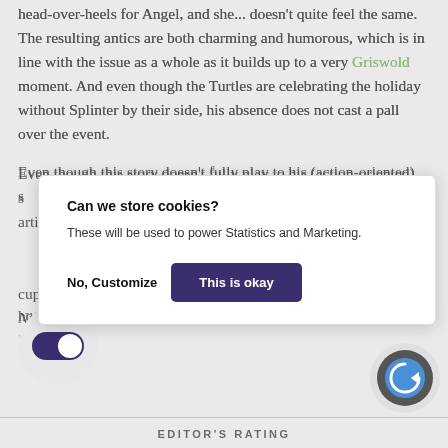head-over-heels for Angel, and she... doesn't quite feel the same. The resulting antics are both charming and humorous, which is in line with the issue as a whole as it builds up to a very Griswold moment. And even though the Turtles are celebrating the holiday without Splinter by their side, his absence does not cast a pall over the event.
Even though this story doesn't fully play to his (action-oriented) strengths, soperfect once again demonstrates why he's the defining artist of this era of the book, so when he's on the page the art is always excellent and a pleasure to cheer. If you're looking for something to read this holiday season, curl up on the couch with a cup of hot cocoa and a slice of pie as you enjoy Teenage Mutant Ninja Turtles #65.
[Figure (screenshot): Cookie consent dialog with title 'Can we store cookies?', body text 'These will be used to power Statistics and Marketing.', and two buttons: 'No, Customize' and a dark purple 'This is okay' button.]
[Figure (screenshot): Toggle switch (dark purple, turned on) inside a grey circular background.]
[Figure (screenshot): reCAPTCHA badge icon in bottom right corner.]
EDITOR'S RATING